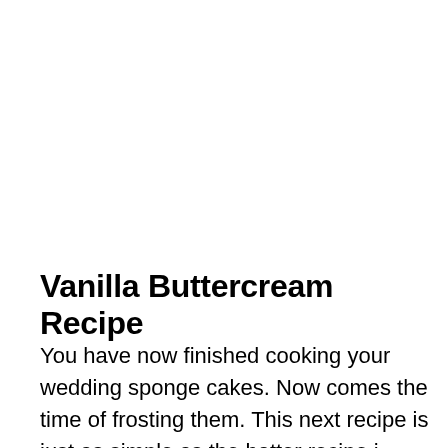Vanilla Buttercream Recipe
You have now finished cooking your wedding sponge cakes. Now comes the time of frosting them. This next recipe is just as simple as the batter recipe i showed you earlier.